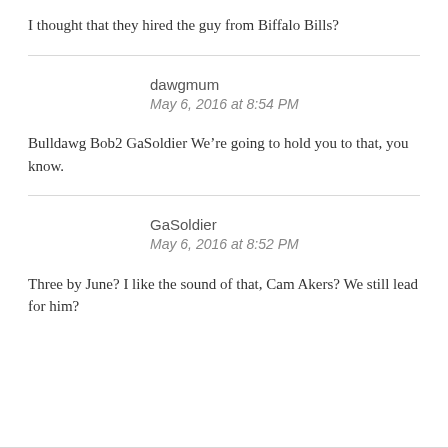I thought that they hired the guy from Biffalo Bills?
dawgmum
May 6, 2016 at 8:54 PM
Bulldawg Bob2 GaSoldier We’re going to hold you to that, you know.
GaSoldier
May 6, 2016 at 8:52 PM
Three by June? I like the sound of that, Cam Akers? We still lead for him?